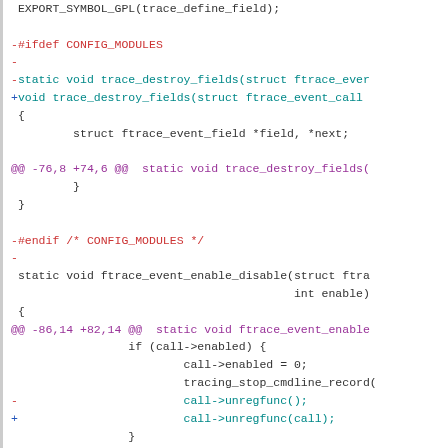Diff/patch code showing changes to Linux kernel tracing code. Includes removal of #ifdef CONFIG_MODULES, static modifier changes, hunk headers, and modifications to call->unregfunc and call->regfunc calls.